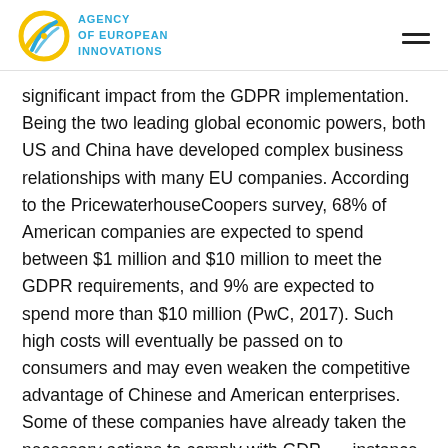AGENCY OF EUROPEAN INNOVATIONS
significant impact from the GDPR implementation. Being the two leading global economic powers, both US and China have developed complex business relationships with many EU companies. According to the PricewaterhouseCoopers survey, 68% of American companies are expected to spend between $1 million and $10 million to meet the GDPR requirements, and 9% are expected to spend more than $10 million (PwC, 2017). Such high costs will eventually be passed on to consumers and may even weaken the competitive advantage of Chinese and American enterprises. Some of these companies have already taken the necessary actions to comply with GDP instance, Huawei, the Chinese telecommunications giant, has appointed data protection officers, whereas